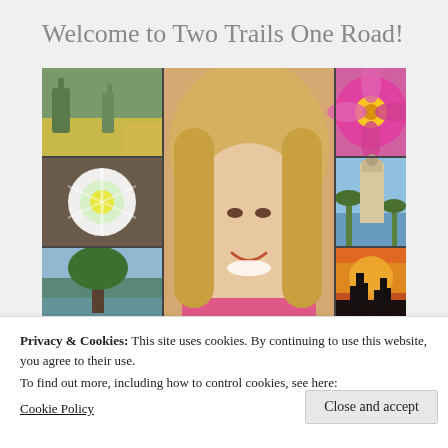Welcome to Two Trails One Road!
[Figure (photo): Photo collage showing a smiling blonde woman in the center surrounded by nature photos: desert cactus landscape, yellow flowers, a white cactus flower, a tree by a lake, pink roses, a pink flower, a church/mission tower, and a desert sunset with saguaro cacti silhouettes.]
Privacy & Cookies: This site uses cookies. By continuing to use this website, you agree to their use.
To find out more, including how to control cookies, see here:
Cookie Policy
Close and accept
enjoy adventure, nature and travel. We live in two paradises.